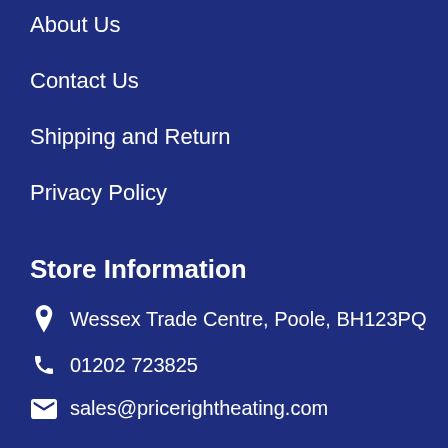About Us
Contact Us
Shipping and Return
Privacy Policy
Store Information
Wessex Trade Centre, Poole, BH123PQ
01202 723825
sales@pricerightheating.com
Opening Hours